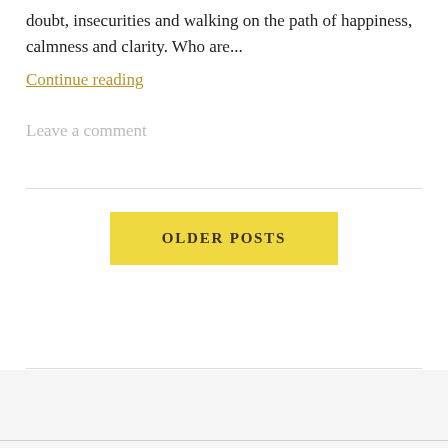doubt, insecurities and walking on the path of happiness, calmness and clarity. Who are...
Continue reading
Leave a comment
OLDER POSTS